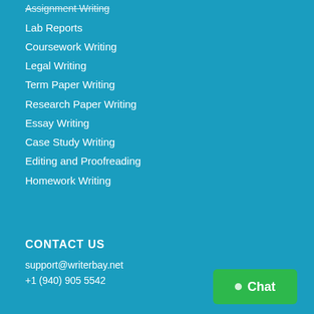Assignment Writing
Lab Reports
Coursework Writing
Legal Writing
Term Paper Writing
Research Paper Writing
Essay Writing
Case Study Writing
Editing and Proofreading
Homework Writing
CONTACT US
support@writerbay.net
+1 (940) 905 5542